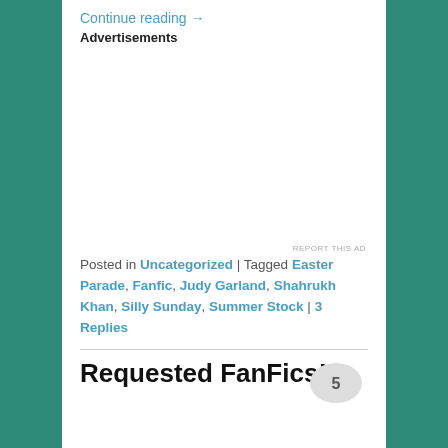Continue reading →
Advertisements
REPORT THIS AD
Posted in Uncategorized | Tagged Easter Parade, Fanfic, Judy Garland, Shahrukh Khan, Silly Sunday, Summer Stock | 3 Replies
Requested FanFics!